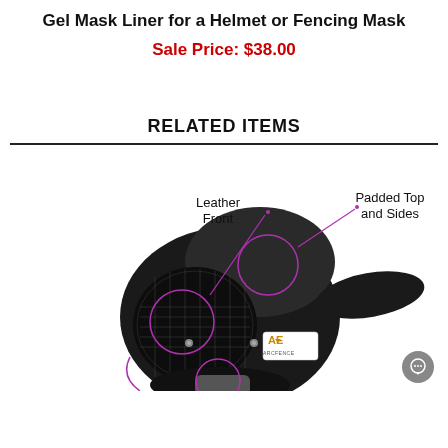Gel Mask Liner for a Helmet or Fencing Mask
Sale Price: $38.00
RELATED ITEMS
[Figure (photo): Product photo of a fencing mask/helmet pad with annotated callouts: 'Leather Front' pointing to the front section, and 'Padded Top and Sides' pointing to the top. The mask is black with mesh and fabric, featuring an AE brand label. Callout circles drawn in purple/magenta lines.]